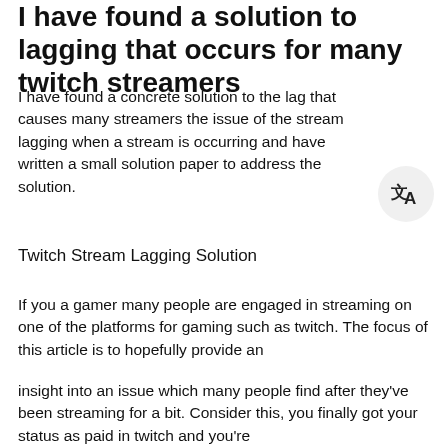I have found a solution to lagging that occurs for many twitch streamers
I have found a concrete solution to the lag that causes many streamers the issue of the stream lagging when a stream is occurring and have written a small solution paper to address the solution.
Twitch Stream Lagging Solution
If you a gamer many people are engaged in streaming on one of the platforms for gaming such as twitch. The focus of this article is to hopefully provide an
insight into an issue which many people find after they've been streaming for a bit. Consider this, you finally got your status as paid in twitch and you're